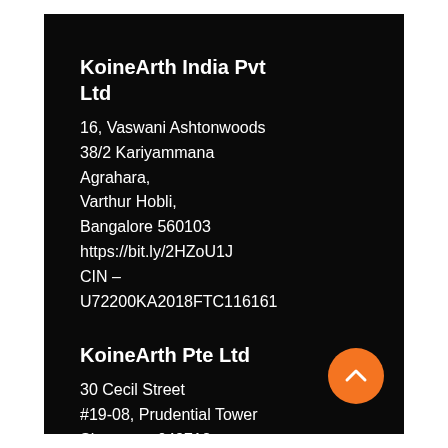KoineArth India Pvt Ltd
16, Vaswani Ashtonwoods 38/2 Kariyammana Agrahara, Varthur Hobli, Bangalore 560103 https://bit.ly/2HZoU1J CIN – U72200KA2018FTC116161
KoineArth Pte Ltd
30 Cecil Street #19-08, Prudential Tower Singapore 049712 https://goo.gl/maps/NDsc6FCMewP2